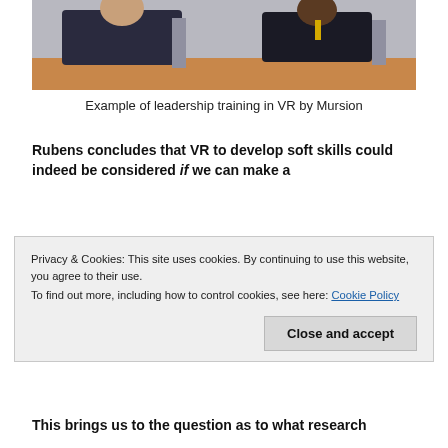[Figure (photo): Two people seated at a table, appears to be a VR leadership training simulation by Mursion]
Example of leadership training in VR by Mursion
Rubens concludes that VR to develop soft skills could indeed be considered if we can make a
Privacy & Cookies: This site uses cookies. By continuing to use this website, you agree to their use.
To find out more, including how to control cookies, see here: Cookie Policy
This brings us to the question as to what research